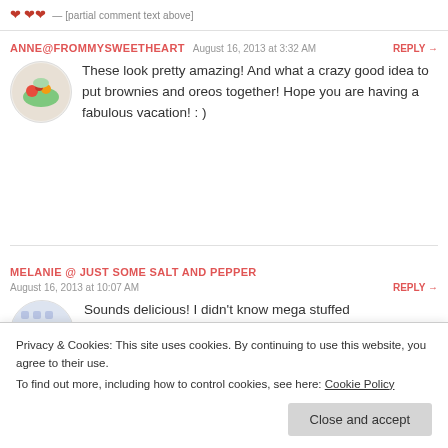❤ ❤❤  [partial comment header text]
ANNE@FROMMYSWEETHEART   August 16, 2013 at 3:32 AM   REPLY →
These look pretty amazing! And what a crazy good idea to put brownies and oreos together! Hope you are having a fabulous vacation! : )
MELANIE @ JUST SOME SALT AND PEPPER   August 16, 2013 at 10:07 AM   REPLY →
Sounds delicious! I didn't know mega stuffed Oreos existed!
Privacy & Cookies: This site uses cookies. By continuing to use this website, you agree to their use. To find out more, including how to control cookies, see here: Cookie Policy